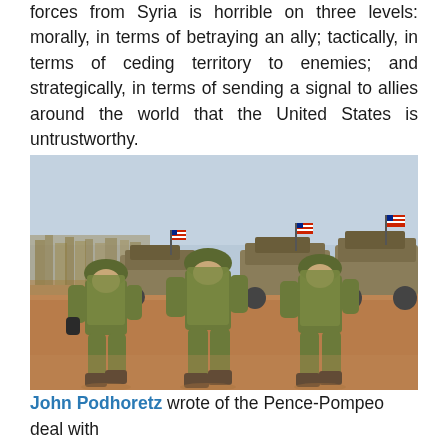forces from Syria is horrible on three levels: morally, in terms of betraying an ally; tactically, in terms of ceding territory to enemies; and strategically, in terms of sending a signal to allies around the world that the United States is untrustworthy.
[Figure (photo): Three U.S. soldiers in full combat gear walking away from camera across a dry, reddish-brown dirt field. In the background are several military armored vehicles flying American flags, with a hazy sky.]
John Podhoretz wrote of the Pence-Pompeo deal with